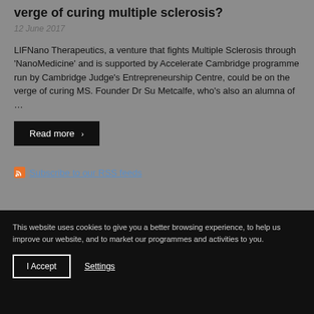verge of curing multiple sclerosis?
12 June 2017
LIFNano Therapeutics, a venture that fights Multiple Sclerosis through 'NanoMedicine' and is supported by Accelerate Cambridge programme run by Cambridge Judge's Entrepreneurship Centre, could be on the verge of curing MS. Founder Dr Su Metcalfe, who's also an alumna of …
Read more ›
Subscribe to our RSS feeds
This website uses cookies to give you a better browsing experience, to help us improve our website, and to market our programmes and activities to you.
I Accept
Settings